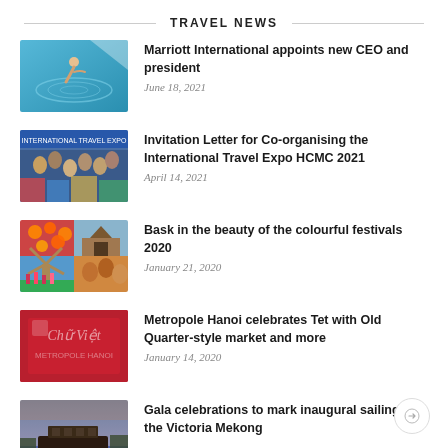TRAVEL NEWS
[Figure (photo): Person diving into blue swimming pool]
Marriott International appoints new CEO and president
June 18, 2021
[Figure (photo): Crowd at an international travel expo]
Invitation Letter for Co-organising the International Travel Expo HCMC 2021
April 14, 2021
[Figure (photo): Collage of colourful festival images including lanterns and tulips]
Bask in the beauty of the colourful festivals 2020
January 21, 2020
[Figure (photo): Red themed Metropole Hanoi Tet market promotional image]
Metropole Hanoi celebrates Tet with Old Quarter-style market and more
January 14, 2020
[Figure (photo): Victoria Mekong river boat at dusk]
Gala celebrations to mark inaugural sailing of the Victoria Mekong